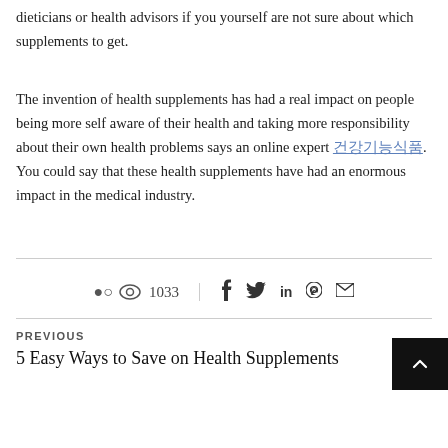dieticians or health advisors if you yourself are not sure about which supplements to get.
The invention of health supplements has had a real impact on people being more self aware of their health and taking more responsibility about their own health problems says an online expert 건강기능식품. You could say that these health supplements have had an enormous impact in the medical industry.
👁 1033  f  𝕏  in   pinterest  mail
PREVIOUS
5 Easy Ways to Save on Health Supplements